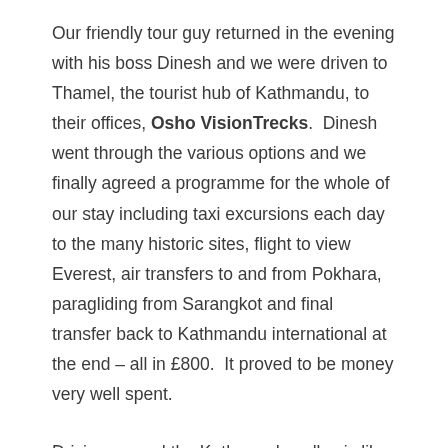Our friendly tour guy returned in the evening with his boss Dinesh and we were driven to Thamel, the tourist hub of Kathmandu, to  their offices, Osho VisionTrecks.  Dinesh went through the various options and we finally agreed a programme for the whole of our stay including taxi excursions each day to the many historic sites, flight to view Everest, air transfers to and from Pokhara, paragliding from Sarangkot and final transfer back to Kathmandu international at the end – all in £800.  It proved to be money very well spent.
Driving around the Kathmandu valley is like being conducted through a building site.  With a few exceptions there doesn't seem to be more than 500